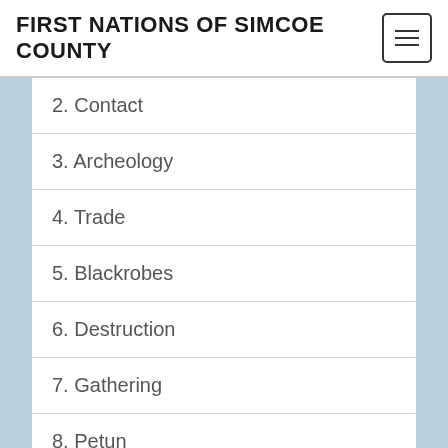FIRST NATIONS OF SIMCOE COUNTY
2. Contact
3. Archeology
4. Trade
5. Blackrobes
6. Destruction
7. Gathering
8. Petun
9. Haudenosaunee
10. Anishinaabeg
11. Potawatomi
12. (partially visible)